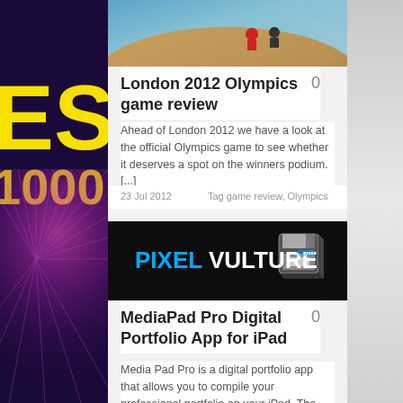[Figure (screenshot): Website screenshot showing blog/article listing page with left sidebar showing 'ES 1000' in yellow on dark purple background, with pink/purple radial accent. Main content shows two article cards on light gray background.]
[Figure (photo): Cycling track race photo showing cyclists on a velodrome track]
London 2012 Olympics game review
0
Ahead of London 2012 we have a look at the official Olympics game to see whether it deserves a spot on the winners podium.  [...]
23 Jul 2012     Tag game review, Olympics
[Figure (logo): PixelVulture.com logo on black background with floppy disk graphic]
MediaPad Pro Digital Portfolio App for iPad
0
Media Pad Pro is a digital portfolio app that allows you to compile your professional portfolio on your iPad. The app supports photo, video and audio and you can...